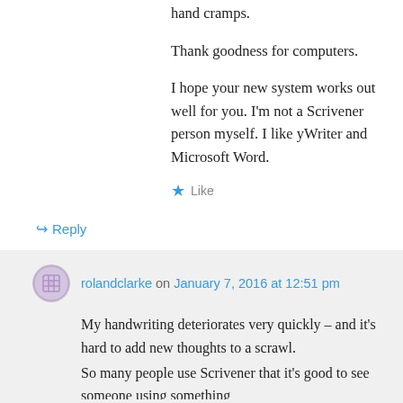hand cramps.
Thank goodness for computers.
I hope your new system works out well for you. I'm not a Scrivener person myself. I like yWriter and Microsoft Word.
★ Like
↳ Reply
rolandclarke on January 7, 2016 at 12:51 pm
My handwriting deteriorates very quickly – and it's hard to add new thoughts to a scrawl.
So many people use Scrivener that it's good to see someone using something